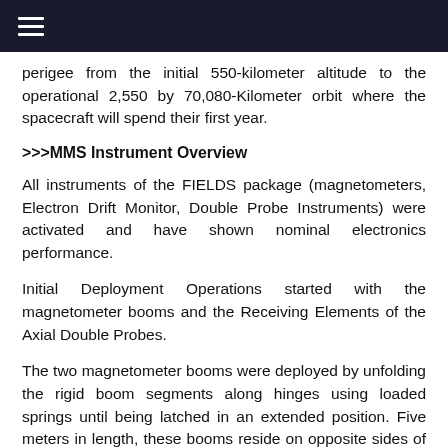≡
perigee from the initial 550-kilometer altitude to the operational 2,550 by 70,080-Kilometer orbit where the spacecraft will spend their first year.
>>>MMS Instrument Overview
All instruments of the FIELDS package (magnetometers, Electron Drift Monitor, Double Probe Instruments) were activated and have shown nominal electronics performance.
Initial Deployment Operations started with the magnetometer booms and the Receiving Elements of the Axial Double Probes.
The two magnetometer booms were deployed by unfolding the rigid boom segments along hinges using loaded springs until being latched in an extended position. Five meters in length, these booms reside on opposite sides of the spacecraft and fulfill the purpose of moving the magnetometers away from the magnetic field of the MMS